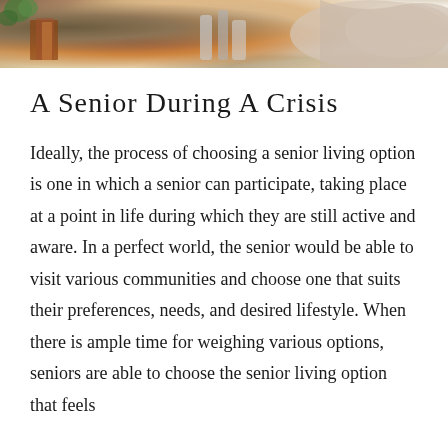[Figure (photo): Top portion of a lifestyle photo showing books, plants, candles/bottles, and a folded blanket or fabric on a surface.]
A Senior During A Crisis
Ideally, the process of choosing a senior living option is one in which a senior can participate, taking place at a point in life during which they are still active and aware. In a perfect world, the senior would be able to visit various communities and choose one that suits their preferences, needs, and desired lifestyle. When there is ample time for weighing various options, seniors are able to choose the senior living option that feels